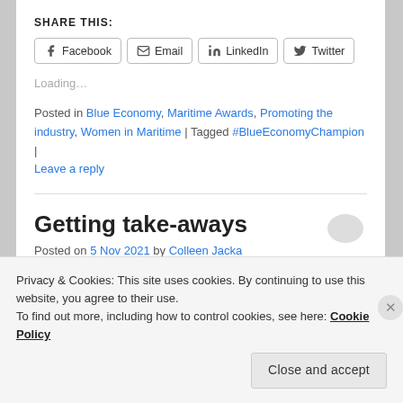SHARE THIS:
Facebook  Email  LinkedIn  Twitter
Loading...
Posted in Blue Economy, Maritime Awards, Promoting the industry, Women in Maritime | Tagged #BlueEconomyChampion | Leave a reply
Getting take-aways
Posted on 5 Nov 2021 by Colleen Jacka
Privacy & Cookies: This site uses cookies. By continuing to use this website, you agree to their use.
To find out more, including how to control cookies, see here: Cookie Policy
Close and accept